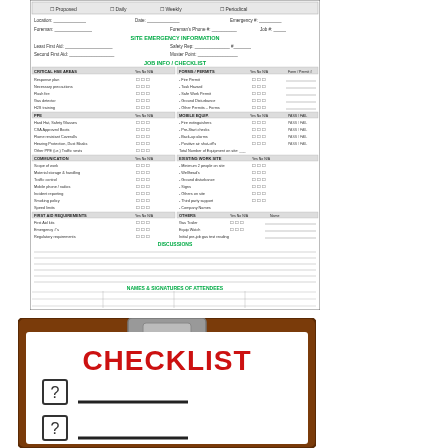[Figure (other): Safety job briefing / pre-job checklist form with fields for location, date, emergency info, foreman, job number, first aid, safety rep, muster point, and multiple checkbox sections including Critical HSE Areas, PPE, Communication, First Aid Requirements, Forms/Permits, Mobile Equipment, Existing Work Site, Others, plus discussion notes lines and Names & Signatures of Attendees section at the bottom.]
[Figure (illustration): Clipboard illustration with the word CHECKLIST in bold red letters and two checkbox items with question mark icons and blank lines below them, representing a generic checklist graphic.]